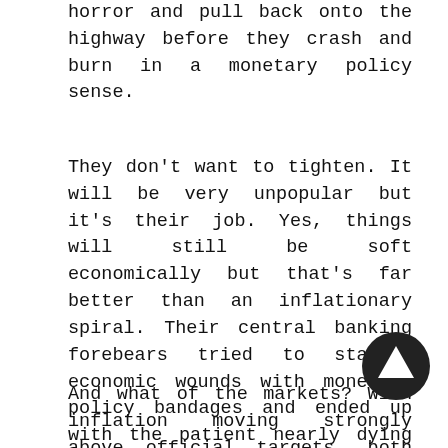horror and pull back onto the highway before they crash and burn in a monetary policy sense.
They don't want to tighten. It will be very unpopular but it's their job. Yes, things will still be soft economically but that's far better than an inflationary spiral. Their central banking forebears tried to staunch economic wounds with monetary policy bandages and ended up with the patient nearly dying of inflation shock. We can't say what they'll do but we'll be watching closely.
And what of the markets? With inflation moving strongly above official targets, both the Federal Reserve and the Bank of Canada are likely to raise rates. They will do so grudgingly